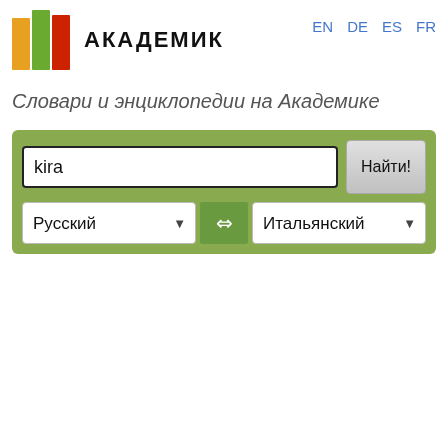[Figure (logo): Академик logo with three colored book spines (orange, green, red) and bold text АКАДЕМИК]
EN  DE  ES  FR
Словари и энциклопедии на Академике
[Figure (screenshot): Search panel with text input containing 'kira', Найти! button, and two language dropdowns: Русский and Итальянский]